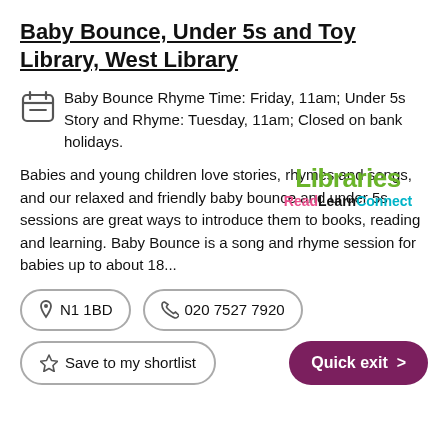Baby Bounce, Under 5s and Toy Library, West Library
Baby Bounce Rhyme Time: Friday, 11am; Under 5s Story and Rhyme: Tuesday, 11am; Closed on bank holidays.
Babies and young children love stories, rhymes and songs, and our relaxed and friendly baby bounce and under 5s sessions are great ways to introduce them to books, reading and learning. Baby Bounce is a song and rhyme session for babies up to about 18...
[Figure (logo): Libraries ReadLearnConnect logo — 'Libraries' in green bold text, 'Read' in pink, 'Learn' in black, 'Connect' in cyan]
N1 1BD
020 7527 7920
Save to my shortlist
Quick exit >